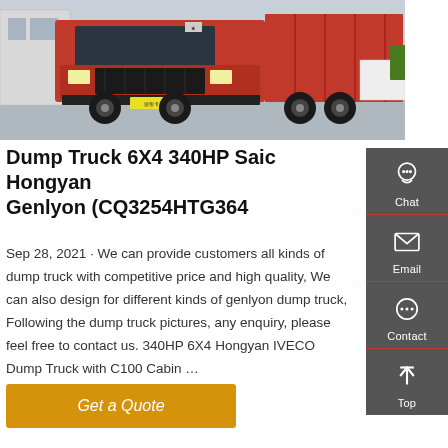[Figure (photo): Red Sinotruk Hongyan dump truck parked outside a warehouse facility, front and side view showing the cab and cargo bed.]
Dump Truck 6X4 340HP Saic Hongyan Genlyon (CQ3254HTG364
Sep 28, 2021 · We can provide customers all kinds of dump truck with competitive price and high quality, We can also design for different kinds of genlyon dump truck, Following the dump truck pictures, any enquiry, please feel free to contact us. 340HP 6X4 Hongyan IVECO Dump Truck with C100 Cabin …
Get a Quote